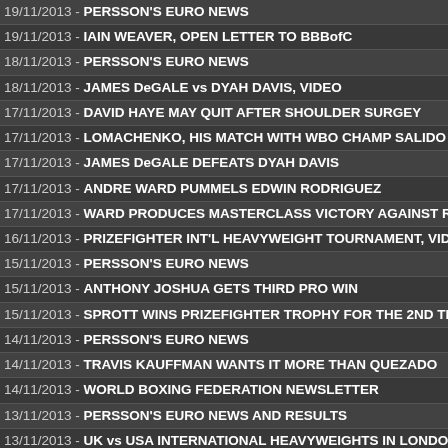19/11/2013 - PERSSON'S EURO NEWS
19/11/2013 - IAIN WEAVER, OPEN LETTER TO BBBofC
18/11/2013 - PERSSON'S EURO NEWS
18/11/2013 - JAMES DeGALE vs DYAH DAVIS, VIDEO
17/11/2013 - DAVID HAYE MAY QUIT AFTER SHOULDER SURGEY
17/11/2013 - LOMACHENKO, HIS MATCH WITH WBO CHAMP SALIDO
17/11/2013 - JAMES DeGALE DEFEATS DYAH DAVIS
17/11/2013 - ANDRE WARD PUMMELS EDWIN RODRIGUEZ
17/11/2013 - WARD PRODUCES MASTERCLASS VICTORY AGAINST R
16/11/2013 - PRIZEFIGHTER INT'L HEAVYWEIGHT TOURNAMENT, VID
15/11/2013 - PERSSON'S EURO NEWS
15/11/2013 - ANTHONY JOSHUA GETS THIRD PRO WIN
15/11/2013 - SPROTT WINS PRIZEFIGHTER TROPHY FOR THE 2ND TI
14/11/2013 - PERSSON'S EURO NEWS
14/11/2013 - TRAVIS KAUFFMAN WANTS IT MORE THAN QUEZADO
14/11/2013 - WORLD BOXING FEDERATION NEWSLETTER
13/11/2013 - PERSSON'S EURO NEWS AND RESULTS
13/11/2013 - UK vs USA INTERNATIONAL HEAVYWEIGHTS IN LONDO
12/11/2013 - PERSSON'S EURO NEWS
12/11/2013 - BOXING CLUB TRAINS KIDS FOR THE FIGHT OF THEIR L
12/11/2013 - JAKIE KALLEN TELLS ALL IN NEW BOOK
12/11/2013 - NAPA BACKS MARSTON TO BECOME WBU EUROPEAN C
11/11/2013 - NICHOLAS WALTERS vs ALBERTO GARZA, VIDEO
11/11/2013 - ANDY GATENBY RETURNING ON NOV 30TH
11/11/2013 - DISVANTAGED FEMALE BOXERS
11/11/2013 - MANNY MUHAMMAD SWAPS BASKETBALL FOR BOXING
10/11/2013 - OOSTHUIZEN AND BUDLER WINNERS IN SOUTH AFRICA